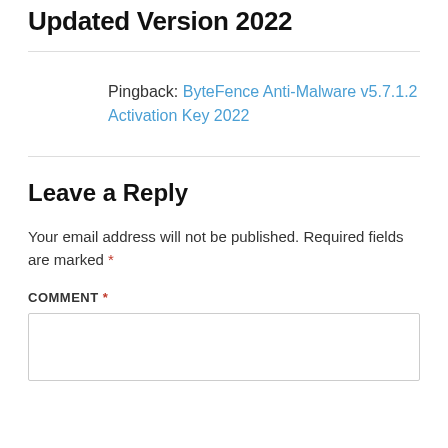Updated Version 2022
Pingback: ByteFence Anti-Malware v5.7.1.2 Activation Key 2022
Leave a Reply
Your email address will not be published. Required fields are marked *
COMMENT *